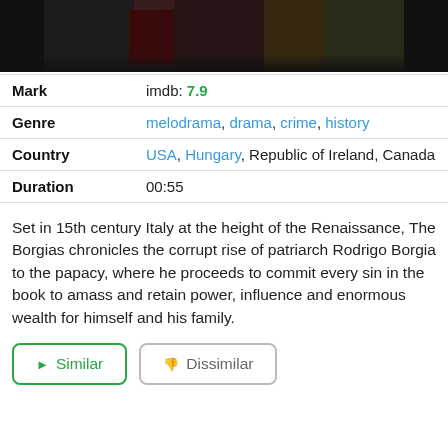[Figure (photo): Dark photo strip showing figures in period costume from The Borgias TV show]
| Mark | imdb: 7.9 |
| Genre | melodrama, drama, crime, history |
| Country | USA, Hungary, Republic of Ireland, Canada |
| Duration | 00:55 |
Set in 15th century Italy at the height of the Renaissance, The Borgias chronicles the corrupt rise of patriarch Rodrigo Borgia to the papacy, where he proceeds to commit every sin in the book to amass and retain power, influence and enormous wealth for himself and his family.
Similar | Dissimilar